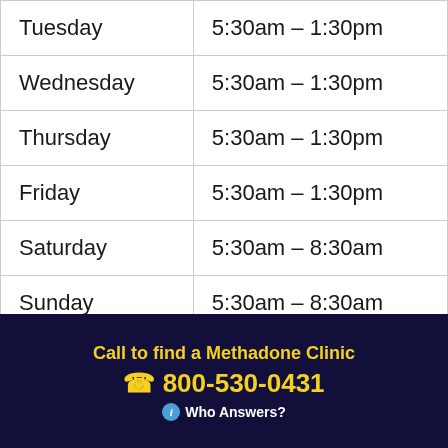| Tuesday | 5:30am – 1:30pm |
| Wednesday | 5:30am – 1:30pm |
| Thursday | 5:30am – 1:30pm |
| Friday | 5:30am – 1:30pm |
| Saturday | 5:30am – 8:30am |
| Sunday | 5:30am – 8:30am |
Contact
814-459-0817
Location
Call to find a Methadone Clinic ☎ 800-530-0431 ⓘ Who Answers?